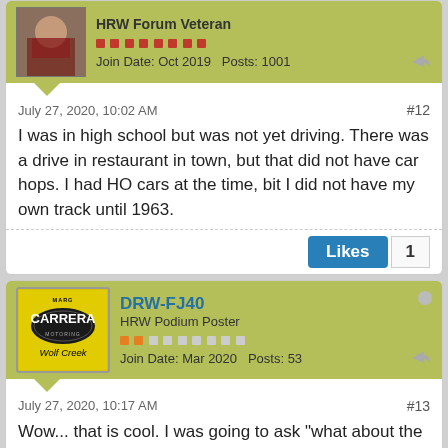HRW Forum Veteran
Join Date: Oct 2019    Posts: 1001
July 27, 2020, 10:02 AM
#12
I was in high school but was not yet driving. There was a drive in restaurant in town, but that did not have car hops. I had HO cars at the time, bit I did not have my own track until 1963.
Likes  1
DRW-FJ40
HRW Podium Poster
Join Date: Mar 2020    Posts: 53
July 27, 2020, 10:17 AM
#13
Wow... that is cool. I was going to ask "what about the Vespa" but there it is. I was incognito for the first 9 months & then just lying around drooling for the last 3 months of '62.